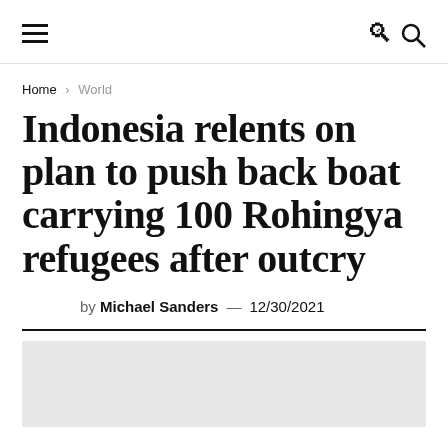≡  🔍
Home › World
Indonesia relents on plan to push back boat carrying 100 Rohingya refugees after outcry
by Michael Sanders — 12/30/2021
[Figure (photo): Light grey placeholder image at the bottom of the page]